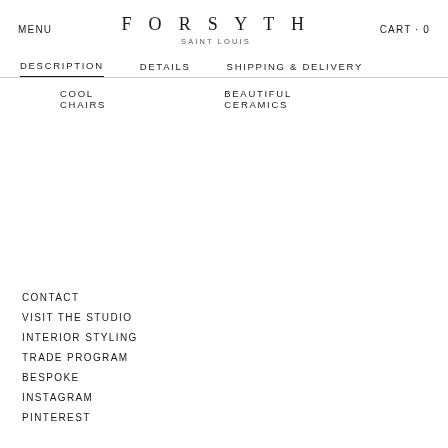MENU   FORSYTH SAINT LOUIS   CART · 0
DESCRIPTION   DETAILS   SHIPPING & DELIVERY
COOL CHAIRS
BEAUTIFUL CERAMICS
CONTACT
VISIT THE STUDIO
INTERIOR STYLING
TRADE PROGRAM
BESPOKE
INSTAGRAM
PINTEREST